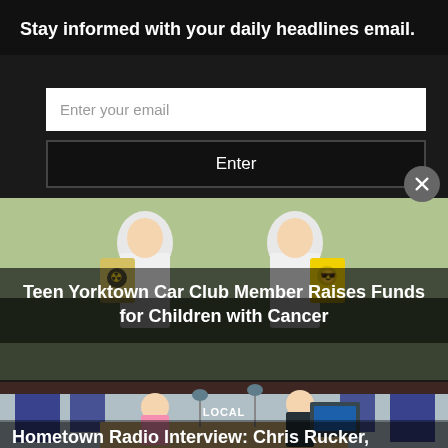Stay informed with your daily headlines email.
Enter your email
Enter
[Figure (photo): Article thumbnail showing teen Yorktown Car Club members raising funds for children with cancer, people in white t-shirts with emoji bags]
Teen Yorktown Car Club Member Raises Funds for Children with Cancer
[Figure (photo): Radio studio interview scene with two people sitting at a broadcast desk with microphones and soundproofing panels on the walls]
LOCAL
Hometown Radio Interview: Chris Rucker,